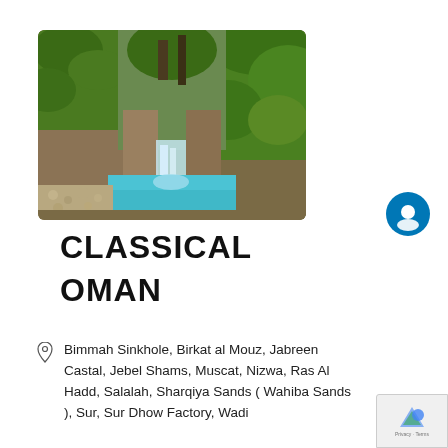[Figure (photo): Lush green moss-covered rocky canyon walls with a small waterfall and turquoise pool at the bottom, pebbled pathway visible]
CLASSICAL OMAN
Bimmah Sinkhole, Birkat al Mouz, Jabreen Castal, Jebel Shams, Muscat, Nizwa, Ras Al Hadd, Salalah, Sharqiya Sands ( Wahiba Sands ), Sur, Sur Dhow Factory, Wadi